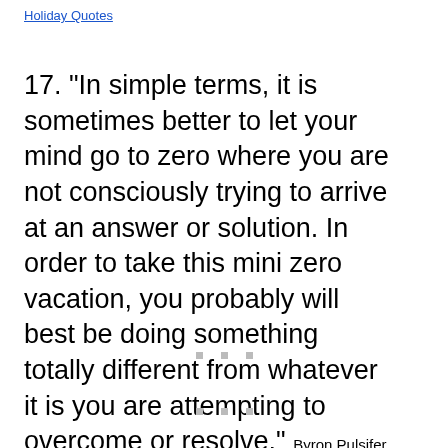Holiday Quotes
17. "In simple terms, it is sometimes better to let your mind go to zero where you are not consciously trying to arrive at an answer or solution. In order to take this mini zero vacation, you probably will best be doing something totally different from whatever it is you are attempting to overcome or resolve." Byron Pulsifer, The Zero Vacation
Overcoming Obstacles